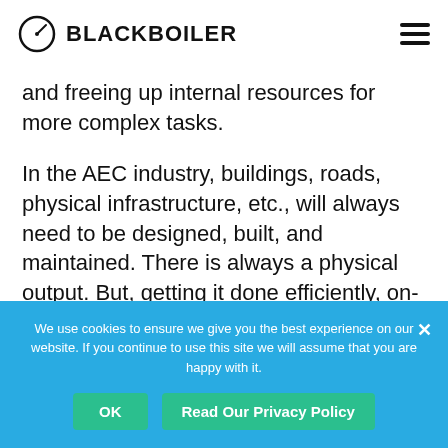BLACKBOILER
and freeing up internal resources for more complex tasks.
In the AEC industry, buildings, roads, physical infrastructure, etc., will always need to be designed, built, and maintained. There is always a physical output. But, getting it done efficiently, on-time and on-budget, with as much risk-mitigation as possible requires a strong focus on the “back-office” stuff such
We use cookies to ensure we give you the best experience on our website. If you continue to use this site we will assume that you are happy with it.